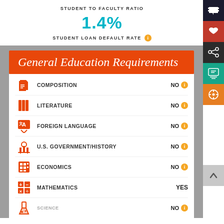STUDENT TO FACULTY RATIO
1.4%
STUDENT LOAN DEFAULT RATE
General Education Requirements
COMPOSITION — NO
LITERATURE — NO
FOREIGN LANGUAGE — NO
U.S. GOVERNMENT/HISTORY — NO
ECONOMICS — NO
MATHEMATICS — YES
SCIENCE — NO